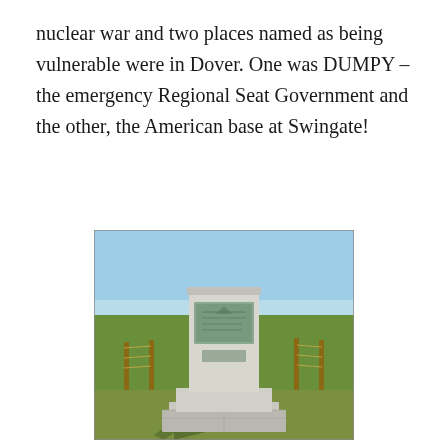nuclear war and two places named as being vulnerable were in Dover. One was DUMPY – the emergency Regional Seat Government and the other, the American base at Swingate!
[Figure (photo): A granite memorial or monument pillar with plaques on it, standing on a stepped granite base, photographed outdoors in an open field under a blue sky with a wooden fence and green grass in the background.]